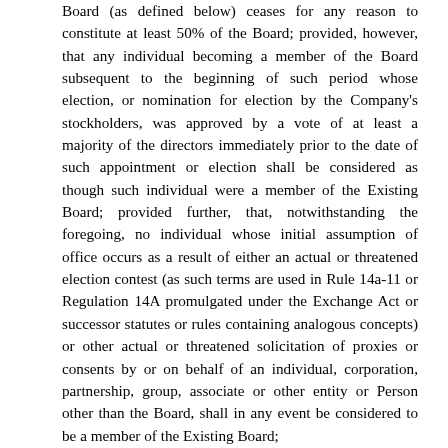Board (as defined below) ceases for any reason to constitute at least 50% of the Board; provided, however, that any individual becoming a member of the Board subsequent to the beginning of such period whose election, or nomination for election by the Company's stockholders, was approved by a vote of at least a majority of the directors immediately prior to the date of such appointment or election shall be considered as though such individual were a member of the Existing Board; provided further, that, notwithstanding the foregoing, no individual whose initial assumption of office occurs as a result of either an actual or threatened election contest (as such terms are used in Rule 14a-11 or Regulation 14A promulgated under the Exchange Act or successor statutes or rules containing analogous concepts) or other actual or threatened solicitation of proxies or consents by or on behalf of an individual, corporation, partnership, group, associate or other entity or Person other than the Board, shall in any event be considered to be a member of the Existing Board;
(iii) the consummation of a merger, amalgamation or consolidation of the Company with any other corporation or other entity, or the issuance of voting securities in connection with such a transaction pursuant to applicable stock exchange requirements; provided that immediately following such transaction the voting securities of the Company outstanding immediately prior thereto do not continue to represent (either by remaining outstanding or by being converted into voting securities of the surviving entity of such merger or consolidation or parent entity thereof) 50% or more